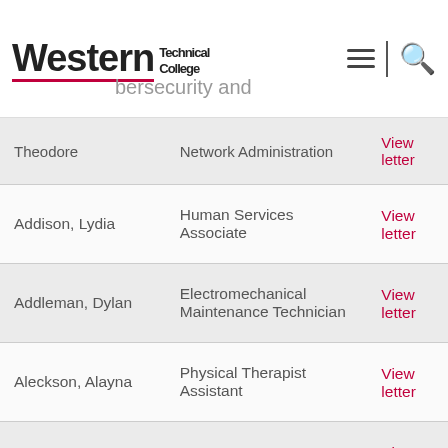Western Technical College
| Name | Program |  |
| --- | --- | --- |
| Theodore | Network Administration | View letter |
| Addison, Lydia | Human Services Associate | View letter |
| Addleman, Dylan | Electromechanical Maintenance Technician | View letter |
| Aleckson, Alayna | Physical Therapist Assistant | View letter |
| Alland, Adriane | Accounting | View letter |
| Allen, Kaleb | Digital Media Production | View letter |
| Allen, ... | Criminal Justice | View letter |